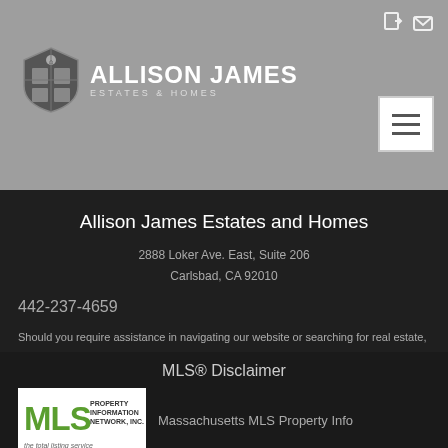Allison James Estates & Homes — navigation header
Allison James Estates and Homes
2888 Loker Ave. East, Suite 206
Carlsbad, CA 92010
442-237-4659
Should you require assistance in navigating our website or searching for real estate, please contact our offices at 442-237-4659.
MLS® Disclaimer
[Figure (logo): MLS Property Information Network, Inc. logo — the total listing service]
Massachusetts MLS Property Info